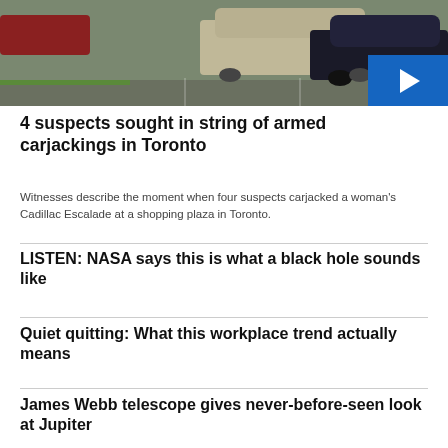[Figure (photo): Outdoor parking lot scene with cars including a dark sedan and silver SUV, street visible in background]
4 suspects sought in string of armed carjackings in Toronto
Witnesses describe the moment when four suspects carjacked a woman's Cadillac Escalade at a shopping plaza in Toronto.
LISTEN: NASA says this is what a black hole sounds like
Quiet quitting: What this workplace trend actually means
James Webb telescope gives never-before-seen look at Jupiter